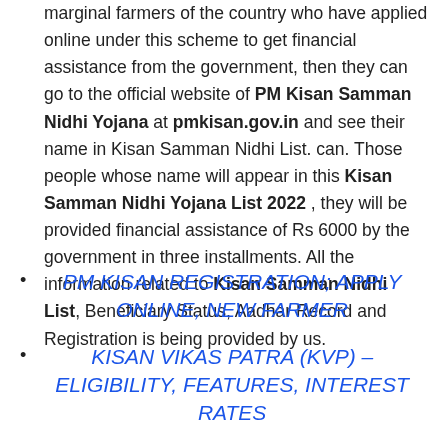marginal farmers of the country who have applied online under this scheme to get financial assistance from the government, then they can go to the official website of PM Kisan Samman Nidhi Yojana at pmkisan.gov.in and see their name in Kisan Samman Nidhi List. can. Those people whose name will appear in this Kisan Samman Nidhi Yojana List 2022 , they will be provided financial assistance of Rs 6000 by the government in three installments. All the information related to Kisan Samman Nidhi List, Beneficiary Status, Aadhar Record and Registration is being provided by us.
PM KISAN REGISTRATION; APPLY ONLINE, NEW FARMER
KISAN VIKAS PATRA (KVP) – ELIGIBILITY, FEATURES, INTEREST RATES